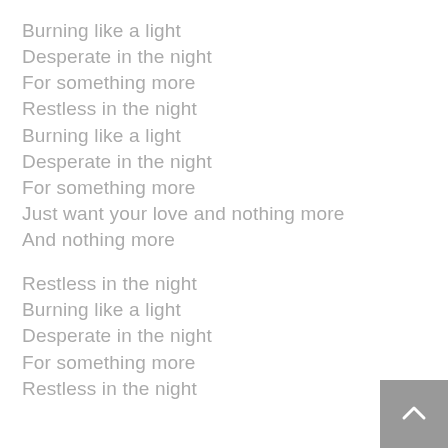Burning like a light
Desperate in the night
For something more
Restless in the night
Burning like a light
Desperate in the night
For something more
Just want your love and nothing more
And nothing more
Restless in the night
Burning like a light
Desperate in the night
For something more
Restless in the night